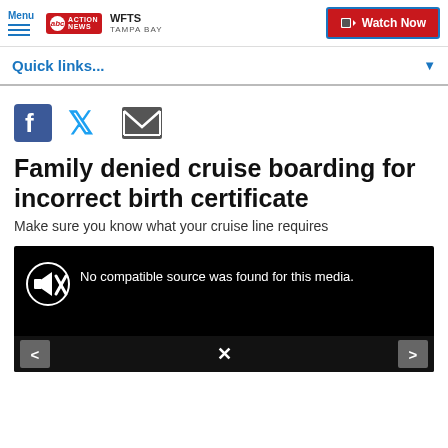Menu | abc ACTION NEWS WFTS TAMPA BAY | Watch Now
Quick links...
[Figure (other): Social media share icons: Facebook, Twitter, Email]
Family denied cruise boarding for incorrect birth certificate
Make sure you know what your cruise line requires
[Figure (screenshot): Video player with black background showing 'No compatible source was found for this media.' with a muted speaker icon, and navigation arrows at bottom]